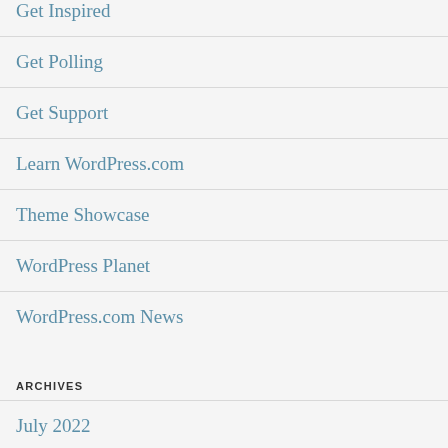Get Inspired
Get Polling
Get Support
Learn WordPress.com
Theme Showcase
WordPress Planet
WordPress.com News
ARCHIVES
July 2022
May 2022
April